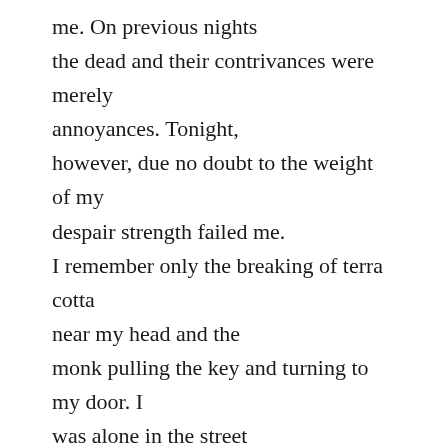me. On previous nights the dead and their contrivances were merely annoyances. Tonight, however, due no doubt to the weight of my despair strength failed me. I remember only the breaking of terra cotta near my head and the monk pulling the key and turning to my door. I was alone in the street when I awoke, perhaps hours later. My door was only slightly ajar and initially, I hoped the dead had lost interest or perhaps left before entering. A crash from inside told me I was wrong. I entered without even glancing at the disarray of my sitting